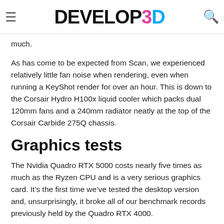DEVELOP3D
much.
As has come to be expected from Scan, we experienced relatively little fan noise when rendering, even when running a KeyShot render for over an hour. This is down to the Corsair Hydro H100x liquid cooler which packs dual 120mm fans and a 240mm radiator neatly at the top of the Corsair Carbide 275Q chassis.
Graphics tests
The Nvidia Quadro RTX 5000 costs nearly five times as much as the Ryzen CPU and is a very serious graphics card. It’s the first time we’ve tested the desktop version and, unsurprisingly, it broke all of our benchmark records previously held by the Quadro RTX 4000.
In Autodesk VRED Professional 2019, for example, we got